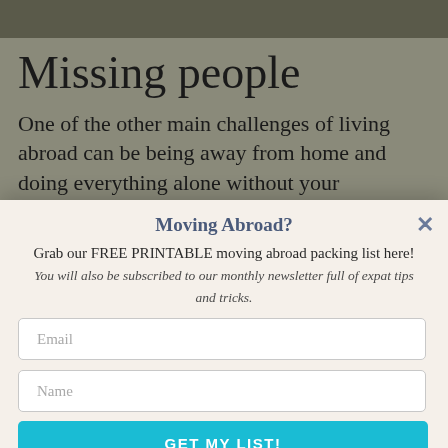[Figure (photo): Partial photo strip at the top of the page showing a dark textured background]
Missing people
One of the other main challenges of living abroad can be being away from home and doing everything alone without your
Moving Abroad?
Grab our FREE PRINTABLE moving abroad packing list here! You will also be subscribed to our monthly newsletter full of expat tips and tricks.
Email
Name
GET MY LIST!